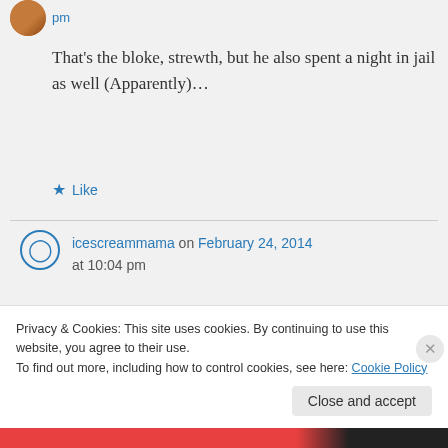pm
That's the bloke, strewth, but he also spent a night in jail as well (Apparently)…
★ Like
icescreammama on February 24, 2014 at 10:04 pm
probably because he made someone read that long winded self
Privacy & Cookies: This site uses cookies. By continuing to use this website, you agree to their use.
To find out more, including how to control cookies, see here: Cookie Policy
Close and accept